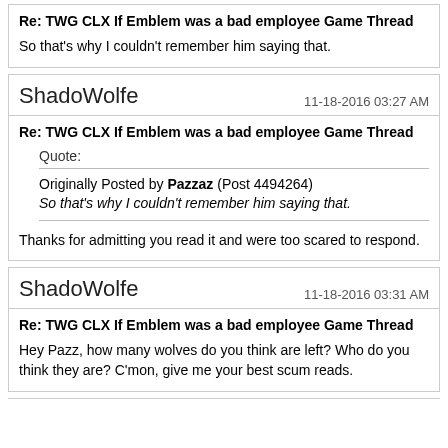Re: TWG CLX If Emblem was a bad employee Game Thread
So that's why I couldn't remember him saying that.
ShadoWolfe
11-18-2016 03:27 AM
Re: TWG CLX If Emblem was a bad employee Game Thread
Quote:
Originally Posted by Pazzaz (Post 4494264)
So that's why I couldn't remember him saying that.
Thanks for admitting you read it and were too scared to respond.
ShadoWolfe
11-18-2016 03:31 AM
Re: TWG CLX If Emblem was a bad employee Game Thread
Hey Pazz, how many wolves do you think are left? Who do you think they are? C'mon, give me your best scum reads.